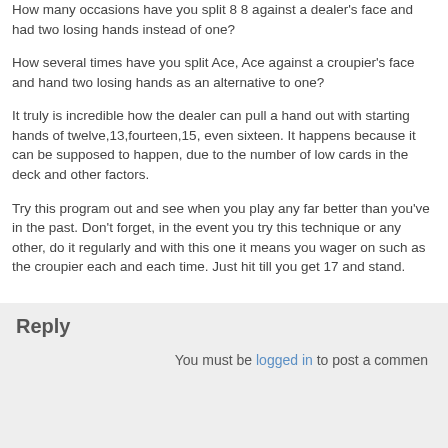How many occasions have you split 8 8 against a dealer's face and had two losing hands instead of one?
How several times have you split Ace, Ace against a croupier's face and hand two losing hands as an alternative to one?
It truly is incredible how the dealer can pull a hand out with starting hands of twelve,13,fourteen,15, even sixteen. It happens because it can be supposed to happen, due to the number of low cards in the deck and other factors.
Try this program out and see when you play any far better than you've in the past. Don't forget, in the event you try this technique or any other, do it regularly and with this one it means you wager on such as the croupier each and each time. Just hit till you get 17 and stand.
Reply
You must be logged in to post a comment.